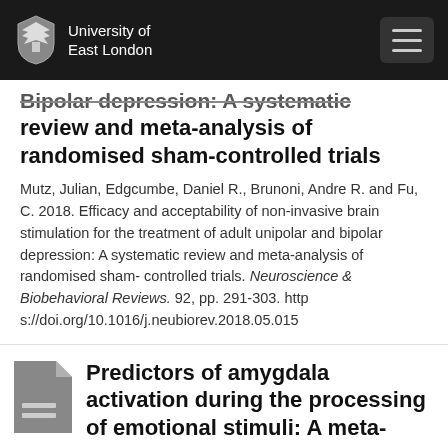University of East London
Bipolar depression: A systematic review and meta-analysis of randomised sham-controlled trials
Mutz, Julian, Edgcumbe, Daniel R., Brunoni, Andre R. and Fu, C. 2018. Efficacy and acceptability of non-invasive brain stimulation for the treatment of adult unipolar and bipolar depression: A systematic review and meta-analysis of randomised sham-controlled trials. Neuroscience & Biobehavioral Reviews. 92, pp. 291-303. https://doi.org/10.1016/j.neubiorev.2018.05.015
Predictors of amygdala activation during the processing of emotional stimuli: A meta-